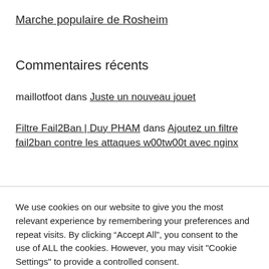Marche populaire de Rosheim
Commentaires récents
maillotfoot dans Juste un nouveau jouet
Filtre Fail2Ban | Duy PHAM dans Ajoutez un filtre fail2ban contre les attaques w00tw00t avec nginx
We use cookies on our website to give you the most relevant experience by remembering your preferences and repeat visits. By clicking “Accept All”, you consent to the use of ALL the cookies. However, you may visit "Cookie Settings" to provide a controlled consent.